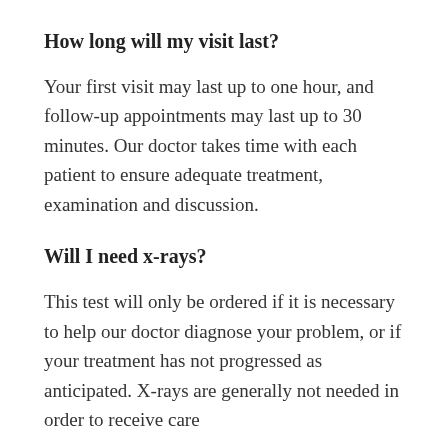How long will my visit last?
Your first visit may last up to one hour, and follow-up appointments may last up to 30 minutes. Our doctor takes time with each patient to ensure adequate treatment, examination and discussion.
Will I need x-rays?
This test will only be ordered if it is necessary to help our doctor diagnose your problem, or if your treatment has not progressed as anticipated. X-rays are generally not needed in order to receive care